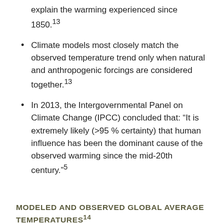explain the warming experienced since 1850.¹³
Climate models most closely match the observed temperature trend only when natural and anthropogenic forcings are considered together.¹³
In 2013, the Intergovernmental Panel on Climate Change (IPCC) concluded that: “It is extremely likely (>95 % certainty) that human influence has been the dominant cause of the observed warming since the mid-20th century.”⁵
MODELED AND OBSERVED GLOBAL AVERAGE TEMPERATURES¹⁴
[Figure (other): Partial chart box visible at bottom of page, content cut off]